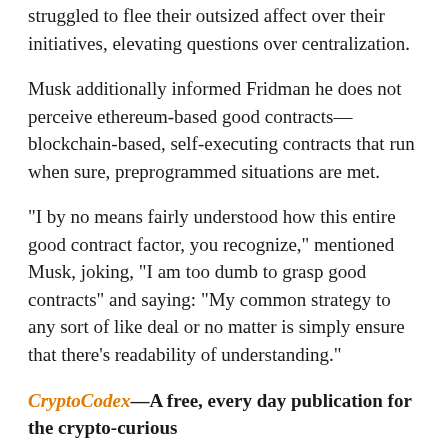struggled to flee their outsized affect over their initiatives, elevating questions over centralization.
Musk additionally informed Fridman he does not perceive ethereum-based good contracts—blockchain-based, self-executing contracts that run when sure, preprogrammed situations are met.
“I by no means fairly understood how this entire good contract factor, you recognize,” mentioned Musk, joking, “I am too dumb to grasp good contracts” and saying: “My common strategy to any sort of like deal or no matter is simply ensure that there’s readability of understanding.”
CryptoCodex—A free, every day publication for the crypto-curious
MORE FROM FORBES’Bitcoin Just Gives Power To New Rich, Democrats, Elon Musk’ Record-Allies Up, Crypto-curious